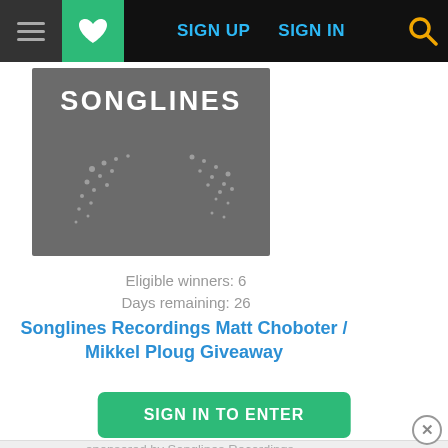≡ ♥ SIGN UP   SIGN IN 🔍
[Figure (screenshot): Songlines Recordings logo/album art on dark gray background with dotted pattern]
Eligible winners: 6
Days remaining: 26
Songlines Recordings Matt Choboter / Mikkel Ploug Giveaway
SIGN IN TO ENTER
sponsored by Songlines Recordings